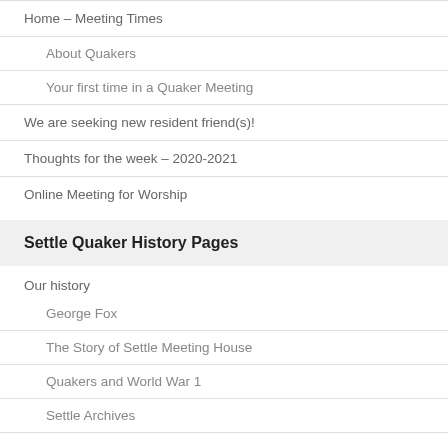Home – Meeting Times
About Quakers
Your first time in a Quaker Meeting
We are seeking new resident friend(s)!
Thoughts for the week – 2020-2021
Online Meeting for Worship
Settle Quaker History Pages
Our history
George Fox
The Story of Settle Meeting House
Quakers and World War 1
Settle Archives